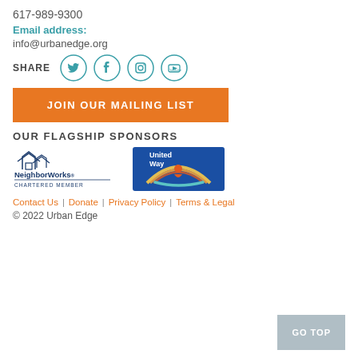617-989-9300
Email address:
info@urbanedge.org
[Figure (other): Social share icons row: Twitter, Facebook, Instagram, YouTube — teal outlined circle icons with SHARE label]
JOIN OUR MAILING LIST
OUR FLAGSHIP SPONSORS
[Figure (logo): NeighborWorks Chartered Member logo — dark blue house icon with text]
[Figure (logo): United Way logo — blue and orange with rainbow and figure graphic]
Contact Us | Donate | Privacy Policy | Terms & Legal
© 2022 Urban Edge
GO TOP